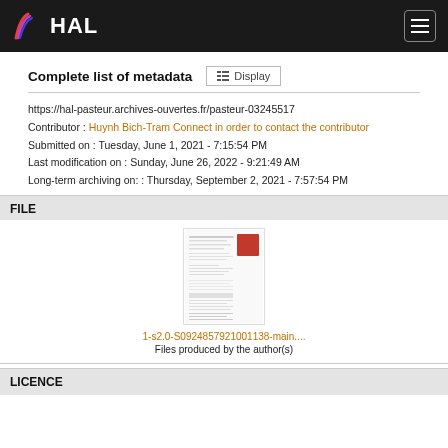HAL
Complete list of metadata
https://hal-pasteur.archives-ouvertes.fr/pasteur-03245517
Contributor : Huynh Bich-Tram Connect in order to contact the contributor
Submitted on : Tuesday, June 1, 2021 - 7:15:54 PM
Last modification on : Sunday, June 26, 2022 - 9:21:49 AM
Long-term archiving on: : Thursday, September 2, 2021 - 7:57:54 PM
FILE
[Figure (other): Thumbnail preview of file 1-s2.0-S0924857921001138-main....]
1-s2.0-S0924857921001138-main....
Files produced by the author(s)
LICENCE